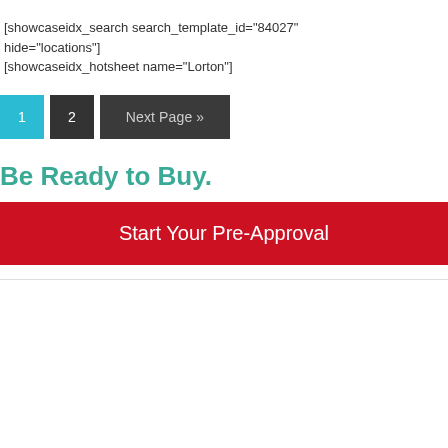[showcaseidx_search search_template_id="84027" hide="locations"]
[showcaseidx_hotsheet name="Lorton"]
1  2  Next Page »
Be Ready to Buy.
Start Your Pre-Approval